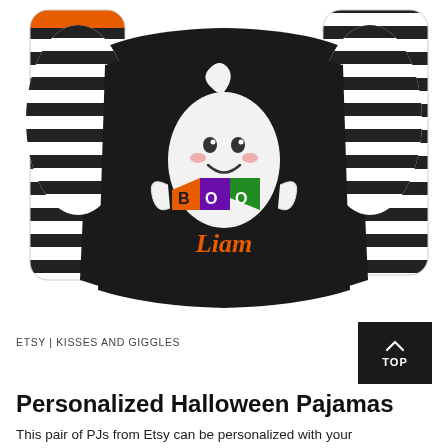[Figure (photo): Halloween pajama set laid flat: black long-sleeve shirt with ghost appliqué holding 'BOO' banner flags and name 'Liam' embroidered in orange, flanked by black-and-white striped pants. Left sleeve has orange cuff stripe.]
ETSY | KISSES AND GIGGLES
Personalized Halloween Pajamas
This pair of PJs from Etsy can be personalized with your child's name and come in several sizes to suit a baby or a